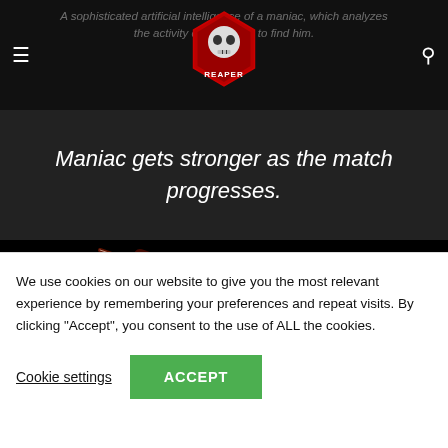A sophisticated artificial intelligence of a maniac, which analyzes the activity of the player to find him.
[Figure (logo): REAPER game logo — red stylized skull/diamond shape with REAPER text]
Maniac gets stronger as the match progresses.
[Figure (photo): Dark image with a bright red diagonal laser or light beam against a black background]
We use cookies on our website to give you the most relevant experience by remembering your preferences and repeat visits. By clicking “Accept”, you consent to the use of ALL the cookies.
Cookie settings
ACCEPT